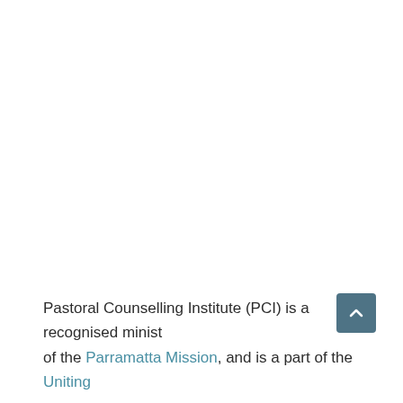Pastoral Counselling Institute (PCI) is a recognised ministry of the Parramatta Mission, and is a part of the Uniting